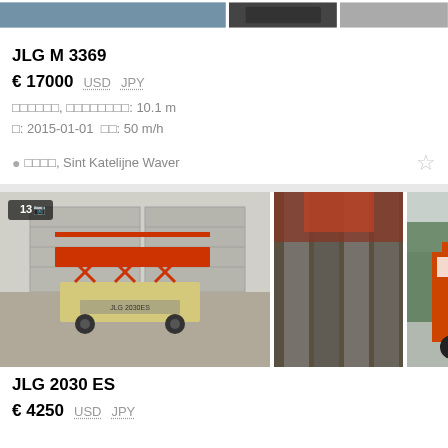[Figure (photo): Top partial view of three equipment listing photos (partially cropped at top of page)]
JLG M 3369
€ 17000  USD  JPY
□□□□□□, □□□□□□□□: 10.1 m
□: 2015-01-01  □□: 50 m/h
□□□□, Sint Katelijne Waver
[Figure (photo): Scissor lift (JLG 2030 ES) shown from front in warehouse, side view on tracks, and rear view outdoors. Badge shows '13' photos.]
JLG 2030 ES
€ 4250  USD  JPY